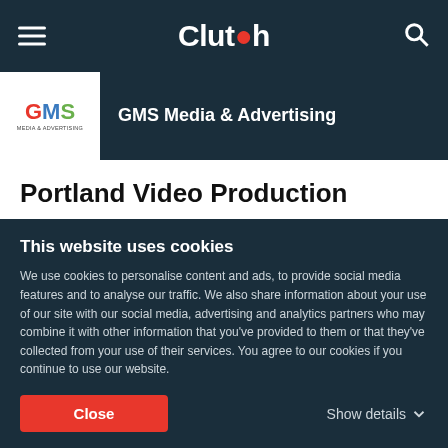Clutch
GMS Media & Advertising
Portland Video Production
5.0  ★★★★★  2 REVIEWS
GMS Media and Advertising is a full service agency specializing in video production, still photography and data driven social marketing.
This website uses cookies
We use cookies to personalise content and ads, to provide social media features and to analyse our traffic. We also share information about your use of our site with our social media, advertising and analytics partners who may combine it with other information that you've provided to them or that they've collected from your use of their services. You agree to our cookies if you continue to use our website.
Close
Show details